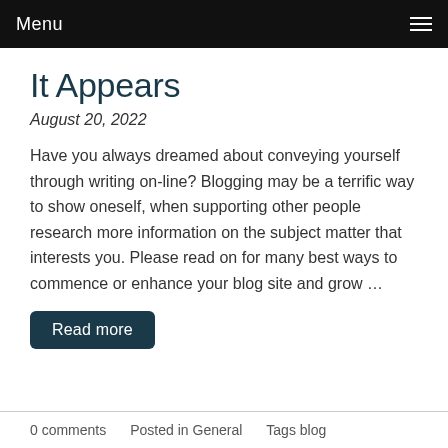Menu
It Appears
August 20, 2022
Have you always dreamed about conveying yourself through writing on-line? Blogging may be a terrific way to show oneself, when supporting other people research more information on the subject matter that interests you. Please read on for many best ways to commence or enhance your blog site and grow …
Read more
0 comments   Posted in General   Tags blog